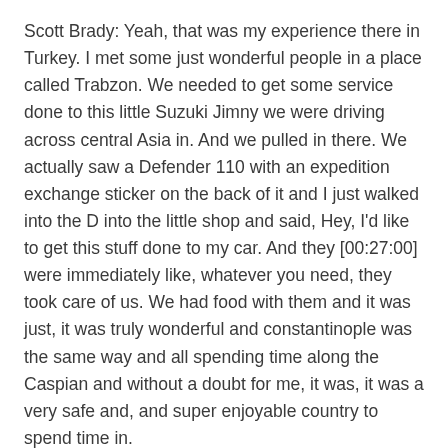Scott Brady: Yeah, that was my experience there in Turkey. I met some just wonderful people in a place called Trabzon. We needed to get some service done to this little Suzuki Jimny we were driving across central Asia in. And we pulled in there. We actually saw a Defender 110 with an expedition exchange sticker on the back of it and I just walked into the D into the little shop and said, Hey, I'd like to get this stuff done to my car. And they [00:27:00] were immediately like, whatever you need, they took care of us. We had food with them and it was just, it was truly wonderful and constantinople was the same way and all spending time along the Caspian and without a doubt for me, it was, it was a very safe and, and super enjoyable country to spend time in.
Amanda Winther: Yeah. I mean, I think especially like Matt said, part of the concern was that travel advisory. I also had a huge project deadline that I was working on.
Matt Swartz: And thatcame up while we were there.